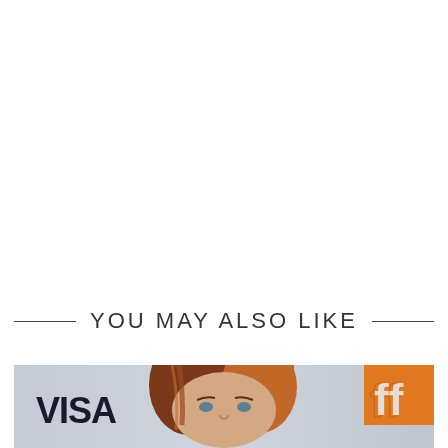YOU MAY ALSO LIKE
[Figure (photo): Photo of a woman with auburn/red hair at what appears to be a film festival event. A VISA sponsor logo is visible on the left and 'ff' (likely TIFF - Toronto International Film Festival) orange logo on the right. The photo is cropped showing the upper portion of the woman's face and hair.]